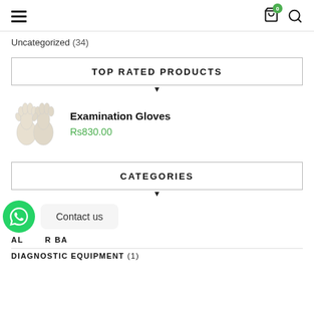Navigation header with hamburger menu, cart icon (badge: 0), and search icon
Uncategorized (34)
TOP RATED PRODUCTS
Examination Gloves
Rs830.00
CATEGORIES
Contact us
AL__R BA
DIAGNOSTIC EQUIPMENT (1)